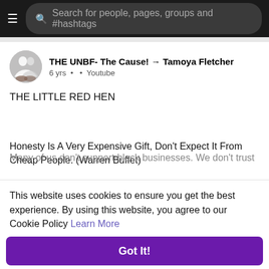Search for people, pages, groups and #hashtags
THE UNBF- The Cause! → Tamoya Fletcher
6 yrs · · Youtube
THE LITTLE RED HEN
Honesty Is A Very Expensive Gift, Don't Expect It From Cheap People. (Warren Buffet)
Many of us don't support black businesses. We don't trust one
This website uses cookies to ensure you get the best experience. By using this website, you agree to our Cookie Policy Learn More
Got It!